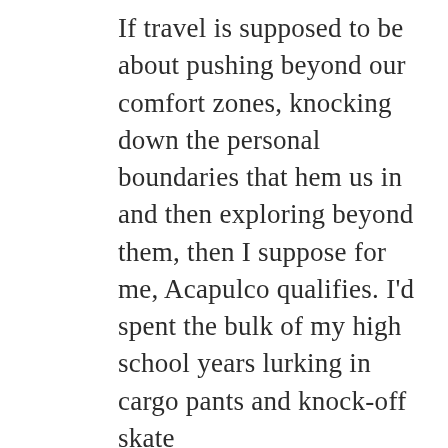If travel is supposed to be about pushing beyond our comfort zones, knocking down the personal boundaries that hem us in and then exploring beyond them, then I suppose for me, Acapulco qualifies. I'd spent the bulk of my high school years lurking in cargo pants and knock-off skate